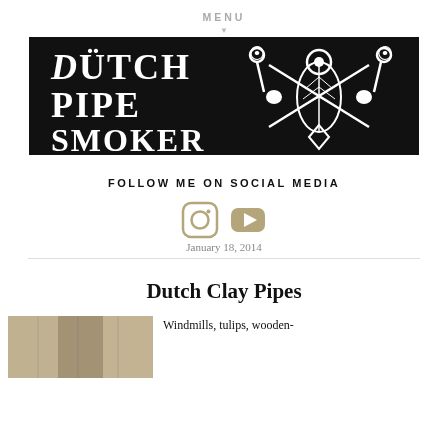MENU
[Figure (logo): Dutch Pipe Smoker logo — black banner with white decorative text reading DUTCH PIPE SMOKER and a crossed pipe/anchor/leaf emblem on the right]
FOLLOW ME ON SOCIAL MEDIA
[Figure (illustration): Instagram and YouTube social media icons in tan/beige color]
January 18, 2014
Dutch Clay Pipes
[Figure (photo): Partial photo of Dutch clay pipes]
Windmills, tulips, wooden-